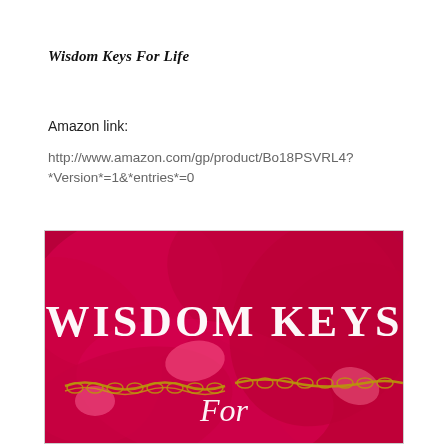Wisdom Keys For Life
Amazon link:
http://www.amazon.com/gp/product/Bo18PSVRL4?
*Version*=1&*entries*=0
[Figure (illustration): Book cover for 'Wisdom Keys For Life' showing red/pink rose petals background with gold chain keys, white serif text reading 'WISDOM KEYS' in large letters and 'For' in script below]